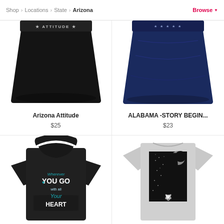Shop > Locations > State > Arizona   Browse
[Figure (photo): Black women's mini skirt with ATTITUDE text on waistband]
Arizona Attitude
$25
[Figure (photo): Navy blue women's mini skirt with stars on waistband]
ALABAMA -STORY BEGIN...
$23
[Figure (photo): Black hoodie with text: Wherever YOU GO with all your HEART]
[Figure (photo): Light gray t-shirt with Arizona state map silhouette and moon graphic]